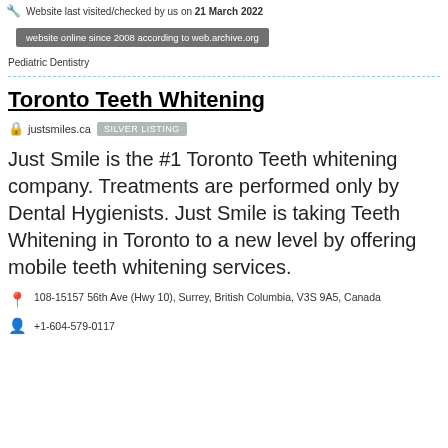Website last visited/checked by us on 21 March 2022
website online since 2008 according to web.archive.org
Pediatric Dentistry
Toronto Teeth Whitening
justsmiles.ca  SILVER LISTING
Just Smile is the #1 Toronto Teeth whitening company. Treatments are performed only by Dental Hygienists. Just Smile is taking Teeth Whitening in Toronto to a new level by offering mobile teeth whitening services.
108-15157 56th Ave (Hwy 10), Surrey, British Columbia, V3S 9A5, Canada
+1-604-579-0117